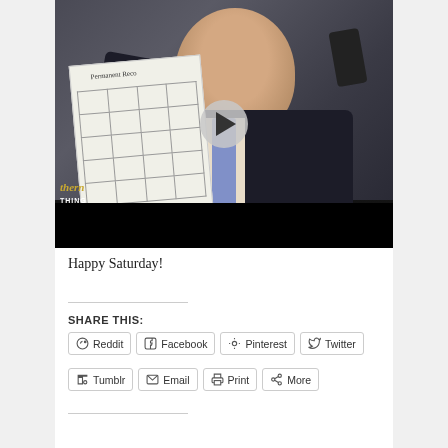[Figure (screenshot): Video thumbnail showing a man in a dark suit and purple tie holding up a paper labeled 'Permanent Record' with a table/grid on it. A play button overlay is visible in the center. A logo reading 'thern THING' appears in the lower left. The bottom of the video has a black bar.]
Happy Saturday!
SHARE THIS:
Reddit
Facebook
Pinterest
Twitter
Tumblr
Email
Print
More